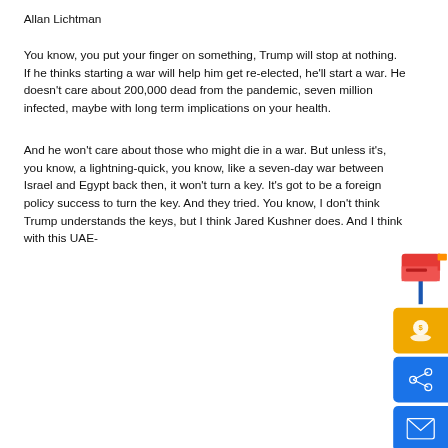Allan Lichtman
You know, you put your finger on something, Trump will stop at nothing. If he thinks starting a war will help him get re-elected, he'll start a war. He doesn't care about 200,000 dead from the pandemic, seven million infected, maybe with long term implications on your health.
And he won't care about those who might die in a war. But unless it's, you know, a lightning-quick, you know, like a seven-day war between Israel and Egypt back then, it won't turn a key. It's got to be a foreign policy success to turn the key. And they tried. You know, I don't think Trump understands the keys, but I think Jared Kushner does. And I think with this UAE-